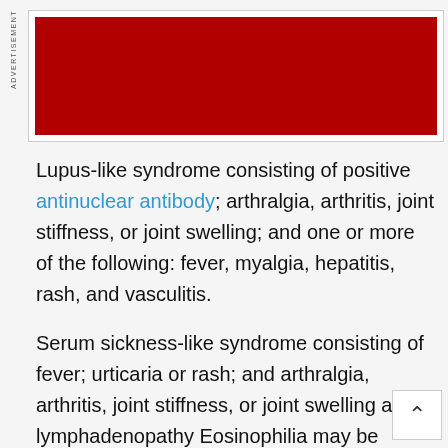[Figure (other): Advertisement banner with red background]
Lupus-like syndrome consisting of positive antinuclear antibody; arthralgia, arthritis, joint stiffness, or joint swelling; and one or more of the following: fever, myalgia, hepatitis, rash, and vasculitis.
Serum sickness-like syndrome consisting of fever; urticaria or rash; and arthralgia, arthritis, joint stiffness, or joint swelling and lymphadenopathy Eosinophilia may be present.